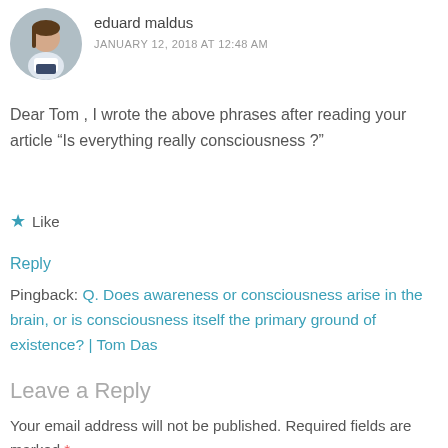[Figure (photo): Circular avatar photo of a person (woman with braids) sitting]
eduard maldus
JANUARY 12, 2018 AT 12:48 AM
Dear Tom , I wrote the above phrases after reading your article “Is everything really consciousness ?”
★ Like
Reply
Pingback: Q. Does awareness or consciousness arise in the brain, or is consciousness itself the primary ground of existence? | Tom Das
Leave a Reply
Your email address will not be published. Required fields are marked *